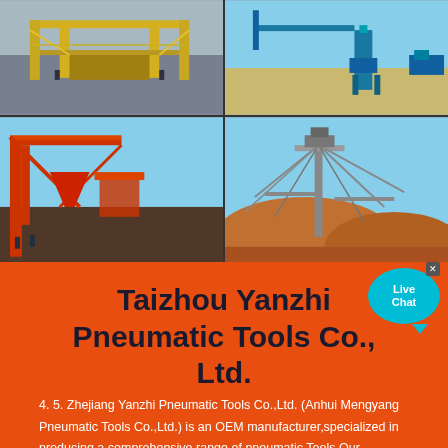[Figure (photo): Four industrial photos in a 2x2 grid showing heavy machinery and mining equipment: top-left shows a yellow gantry/crane structure, top-right shows a blue mobile crane on sandy terrain, bottom-left shows a red industrial port/conveyor structure, bottom-right shows a large mining excavator structure over mounds of earth.]
Taizhou Yanzhi Pneumatic Tools Co., Ltd.
4. 5. Zhejiang Yanzhi Pneumatic Tools Co.,Ltd. (Anhui Mengyang Pneumatic Tools Co.,Ltd.) is an OEM manufacturer,specialized in producing a comprehensive range of pneumatic Tools.Our technology is from Taiwan,and owns rich experience of developing and manufacturing high quality and excellent products. Our